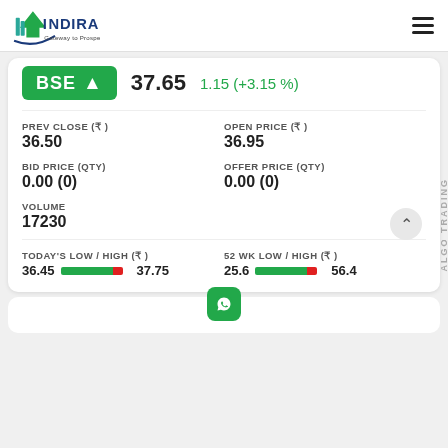[Figure (logo): Indira Securities logo with arrow and text 'Gateway to Prosperity']
BSE ↑  37.65  1.15 (+3.15 %)
PREV CLOSE (₹)
36.50
OPEN PRICE (₹)
36.95
BID PRICE (QTY)
0.00 (0)
OFFER PRICE (QTY)
0.00 (0)
VOLUME
17230
TODAY'S LOW / HIGH (₹)
36.45  [bar]  37.75
52 WK LOW / HIGH (₹)
25.6  [bar]  56.4